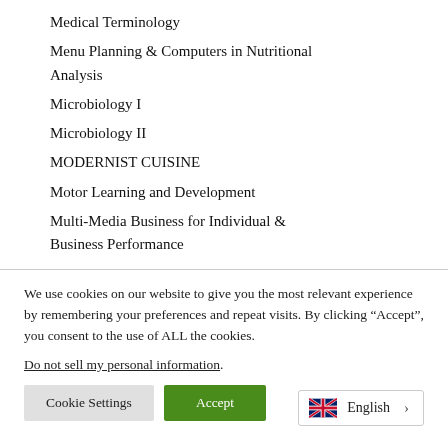Medical Terminology
Menu Planning & Computers in Nutritional Analysis
Microbiology I
Microbiology II
MODERNIST CUISINE
Motor Learning and Development
Multi-Media Business for Individual & Business Performance
We use cookies on our website to give you the most relevant experience by remembering your preferences and repeat visits. By clicking "Accept", you consent to the use of ALL the cookies.
Do not sell my personal information.
Cookie Settings
Accept
English